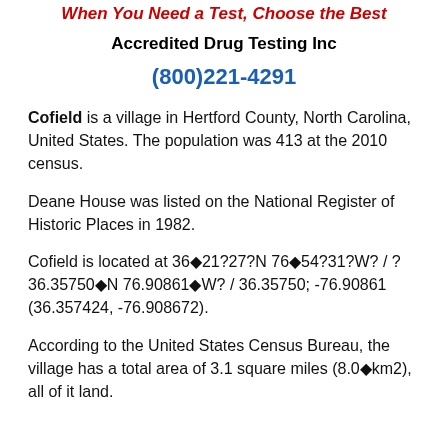When You Need a Test, Choose the Best
Accredited Drug Testing Inc
(800)221-4291
Cofield is a village in Hertford County, North Carolina, United States. The population was 413 at the 2010 census.
Deane House was listed on the National Register of Historic Places in 1982.
Cofield is located at 36◆ 21?27?N 76◆ 54?31?W? / ? 36.35750◆N 76.90861◆W? / 36.35750; -76.90861 (36.357424, -76.908672).
According to the United States Census Bureau, the village has a total area of 3.1 square miles (8.0◆km2), all of it land.